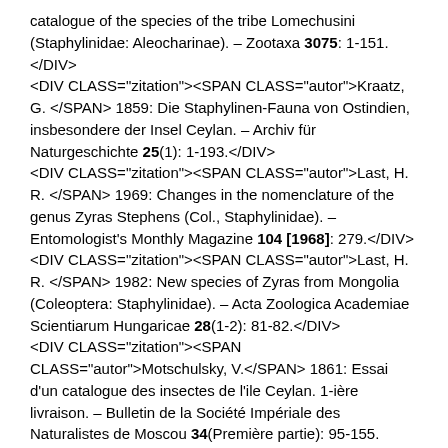catalogue of the species of the tribe Lomechusini (Staphylinidae: Aleocharinae). – Zootaxa 3075: 1-151.</DIV> <DIV CLASS="zitation"><SPAN CLASS="autor">Kraatz, G. </SPAN> 1859: Die Staphylinen-Fauna von Ostindien, insbesondere der Insel Ceylan. – Archiv für Naturgeschichte 25(1): 1-193.</DIV> <DIV CLASS="zitation"><SPAN CLASS="autor">Last, H. R. </SPAN> 1969: Changes in the nomenclature of the genus Zyras Stephens (Col., Staphylinidae). – Entomologist's Monthly Magazine 104 [1968]: 279.</DIV> <DIV CLASS="zitation"><SPAN CLASS="autor">Last, H. R. </SPAN> 1982: New species of Zyras from Mongolia (Coleoptera: Staphylinidae). – Acta Zoologica Academiae Scientiarum Hungaricae 28(1-2): 81-82.</DIV> <DIV CLASS="zitation"><SPAN CLASS="autor">Motschulsky, V.</SPAN> 1861: Essai d'un catalogue des insectes de l'ile Ceylan. 1-ière livraison. – Bulletin de la Société Impériale des Naturalistes de Moscou 34(Première partie): 95-155.</DIV> <DIV CLASS="zitation"><SPAN CLASS="autor">Pace, R. </SPAN> 1986a: Aleocharinae della Thailandia e della Birmania riportate da G. de Rougemont (Coleoptera